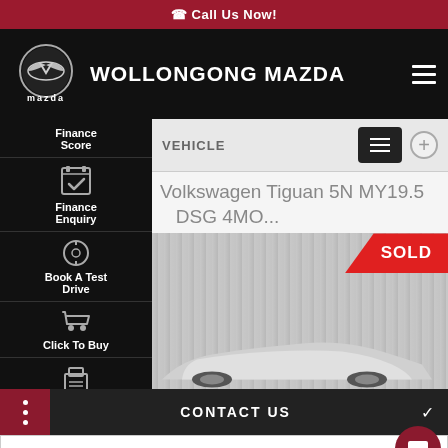📞 Call Us Now!
[Figure (logo): Mazda logo with WOLLONGONG MAZDA text and hamburger menu icon on black background]
Finance Score
Finance Enquiry
Book A Test Drive
Click To Buy
Instant Offer
VEHICLE
Volkswagen Tiguan 5N MY19.5 DSG 4MO...
[Figure (photo): Car image with SOLD red badge in top right corner]
CONTACT US
FINANCE OPTIONS